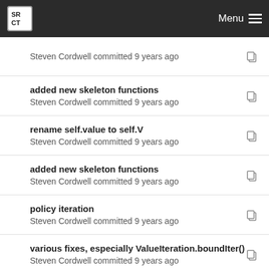SRCT Menu
Steven Cordwell committed 9 years ago
added new skeleton functions
Steven Cordwell committed 9 years ago
rename self.value to self.V
Steven Cordwell committed 9 years ago
added new skeleton functions
Steven Cordwell committed 9 years ago
policy iteration
Steven Cordwell committed 9 years ago
various fixes, especially ValueIteration.boundIter()
Steven Cordwell committed 9 years ago
clean up conversion to tuples to use x.getA1() rat...
Steven Cordwell committed 9 years ago
QLearning class now up to date